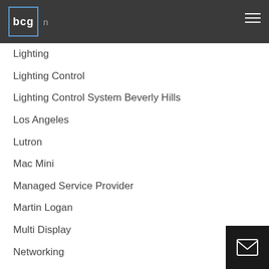bcg
Lighting
Lighting Control
Lighting Control System Beverly Hills
Los Angeles
Lutron
Mac Mini
Managed Service Provider
Martin Logan
Multi Display
Networking
News/Press
Outdoor
Outdoor Audio
Planar
Remote Monitoring
Remote Support
Residential Projects